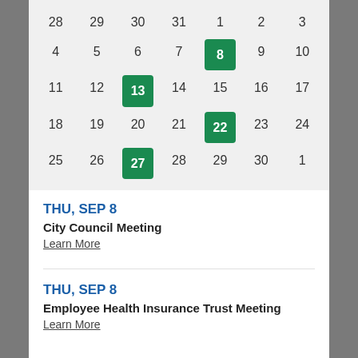[Figure (other): Monthly calendar grid showing dates 28-3, 4-10, 11-17, 18-24, 25-1 with highlighted event dates on 8, 13, 22, 27 in green]
THU, SEP 8
City Council Meeting
Learn More
THU, SEP 8
Employee Health Insurance Trust Meeting
Learn More